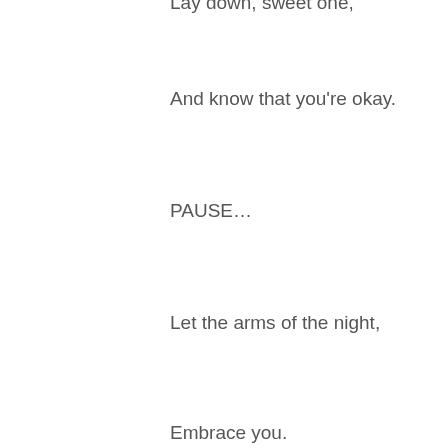Lay down, sweet one,
And know that you're okay.
PAUSE…
Let the arms of the night,
Embrace you.
PAUSE…
Allow yourself to melt into her arms,
Releasing,
Trusting.
PAUSE...